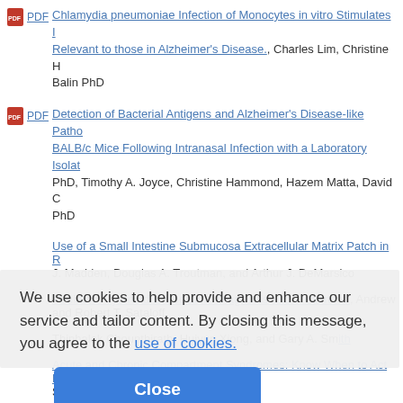PDF Chlamydia pneumoniae Infection of Monocytes in vitro Stimulates I... Relevant to those in Alzheimer's Disease., Charles Lim, Christine H... Balin PhD
PDF Detection of Bacterial Antigens and Alzheimer's Disease-like Patho... BALB/c Mice Following Intranasal Infection with a Laboratory Isolat... PhD, Timothy A. Joyce, Christine Hammond, Hazem Matta, David C... PhD
Use of a Small Intestine Submucosa Extracellular Matrix Patch in R... J. Madden, Douglas A. Troutman, and Arthur J. DeMarsico
Pediatric Arytenoid Dislocation: Diagnosis and Treatment., Andrew... and Robert T. Sataloff
...in US Emergency... Thinhalak Chounthirath, Huiyun Xiong, and Gary A. Smith
Acute and Chronic Compartment Syndromes: Know When to Act Fa... Steven Kelham...
Staff Perspectives on Juvenile Drug Court Operations: A Multi-Site C...
We use cookies to help provide and enhance our service and tailor content. By closing this message, you agree to the use of cookies.
Close